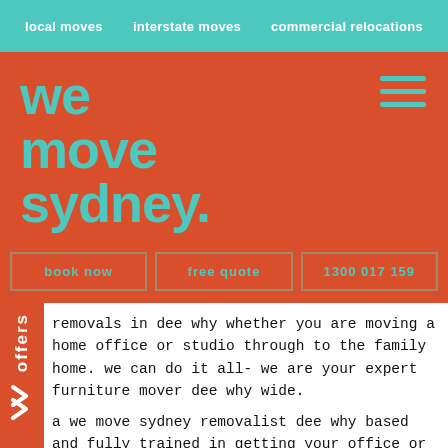local moves   interstate moves   commercial relocations
We Move Sydney.
book now
free quote
1300 017 159
removals in dee why whether you are moving a home office or studio through to the family home. we can do it all- we are your expert furniture mover dee why wide.
a we move sydney removalist dee why based and fully trained in getting your office or home relocated as quickly and efficiently as possible. we are fully equipped with everything needed for removals fr why to your new location- trolleys, ramps, lifts a and lots of packing material! let us, the expert dee why